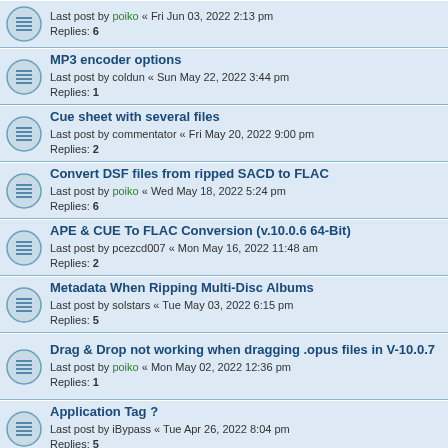Last post by poiko « Fri Jun 03, 2022 2:13 pm
Replies: 6
MP3 encoder options
Last post by coldun « Sun May 22, 2022 3:44 pm
Replies: 1
Cue sheet with several files
Last post by commentator « Fri May 20, 2022 9:00 pm
Replies: 2
Convert DSF files from ripped SACD to FLAC
Last post by poiko « Wed May 18, 2022 5:24 pm
Replies: 6
APE & CUE To FLAC Conversion (v.10.0.6 64-Bit)
Last post by pcezcd007 « Mon May 16, 2022 11:48 am
Replies: 2
Metadata When Ripping Multi-Disc Albums
Last post by solstars « Tue May 03, 2022 6:15 pm
Replies: 5
Drag & Drop not working when dragging .opus files in V-10.0.7
Last post by poiko « Mon May 02, 2022 12:36 pm
Replies: 1
Application Tag ?
Last post by iBypass « Tue Apr 26, 2022 8:04 pm
Replies: 5
Differences Vs microsoft store version?
Last post by poiko « Tue Apr 26, 2022 9:49 am
Replies: 3
version 10.07...